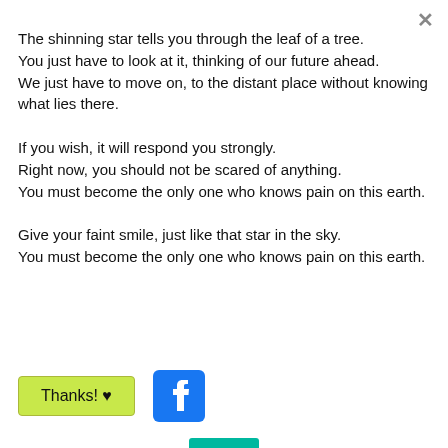×
The shinning star tells you through the leaf of a tree.
You just have to look at it, thinking of our future ahead.
We just have to move on, to the distant place without knowing what lies there.
If you wish, it will respond you strongly.
Right now, you should not be scared of anything.
You must become the only one who knows pain on this earth.
Give your faint smile, just like that star in the sky.
You must become the only one who knows pain on this earth.
[Figure (other): Thanks! button with heart icon and Facebook icon button]
[Figure (other): Teal/green bar at bottom]